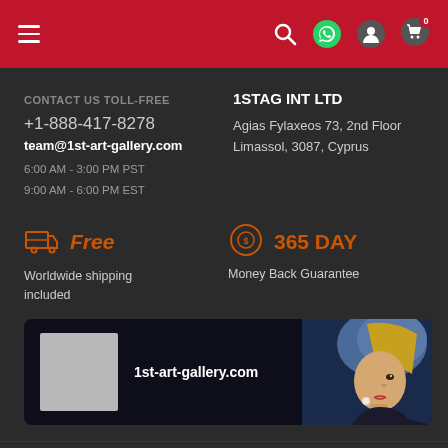Navigation header with hamburger menu and icons
CONTACT US TOLL-FREE
+1-888-417-8278
team@1st-art-gallery.com
6:00 AM - 3:00 PM PST
9:00 AM - 6:00 PM EST
1STAG INT LTD
Agias Fylaxeos 73, 2nd Floor
Limassol, 3087, Cyprus
[Figure (infographic): Box icon with orange color representing free shipping]
Free
Worldwide shipping included
[Figure (infographic): Circle money icon with orange color representing 365 day money back guarantee]
365 DAY
Money Back Guarantee
[Figure (screenshot): Dark banner with 1st-art-gallery.com text, a light gray placeholder square on left and a painting of Girl with a Pearl Earring on right]
Logo row with partner logos and Excellent text